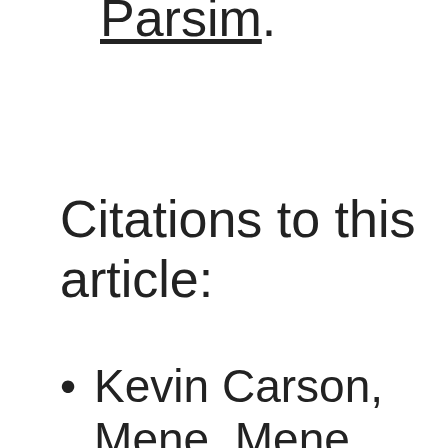Parsim.
Citations to this article:
Kevin Carson, Mene, Mene,